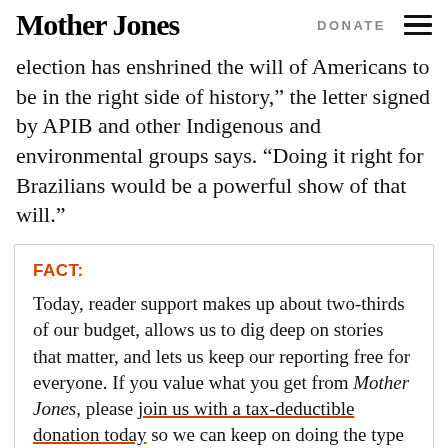Mother Jones | DONATE
election has enshrined the will of Americans to be in the right side of history," the letter signed by APIB and other Indigenous and environmental groups says. "Doing it right for Brazilians would be a powerful show of that will."
FACT: Today, reader support makes up about two-thirds of our budget, allows us to dig deep on stories that matter, and lets us keep our reporting free for everyone. If you value what you get from Mother Jones, please join us with a tax-deductible donation today so we can keep on doing the type of journalism 2022 demands.